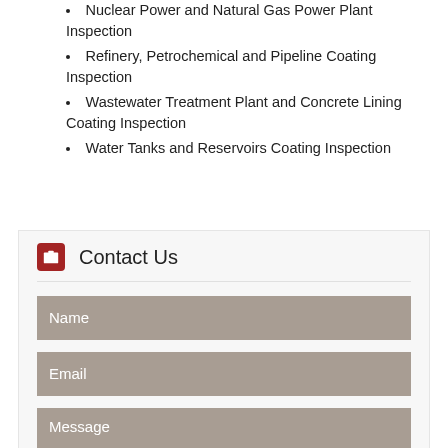Nuclear Power and Natural Gas Power Plant Inspection
Refinery, Petrochemical and Pipeline Coating Inspection
Wastewater Treatment Plant and Concrete Lining Coating Inspection
Water Tanks and Reservoirs Coating Inspection
Contact Us
Name
Email
Message